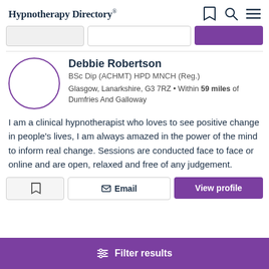Hypnotherapy Directory
[Figure (screenshot): Search bar row with two input fields and a purple search button]
Debbie Robertson
BSc Dip (ACHMT) HPD MNCH (Reg.)
Glasgow, Lanarkshire, G3 7RZ • Within 59 miles of Dumfries And Galloway
I am a clinical hypnotherapist who loves to see positive change in people's lives, I am always amazed in the power of the mind to inform real change. Sessions are conducted face to face or online and are open, relaxed and free of any judgement.
[Figure (screenshot): Action buttons row: bookmark icon button, Email button, View profile button]
Filter results